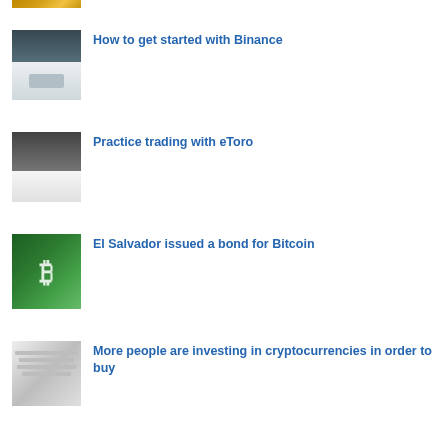[Figure (photo): Partially visible thumbnail at top of page, appears to be gold/financial imagery]
[Figure (photo): Person working on laptop with financial charts on screen]
How to get started with Binance
[Figure (photo): Person holding smartphone with trading app, laptop and coffee in background]
Practice trading with eToro
[Figure (photo): Green glowing Bitcoin coin with B symbol]
El Salvador issued a bond for Bitcoin
[Figure (photo): Person writing or working with paper documents]
More people are investing in cryptocurrencies in order to buy